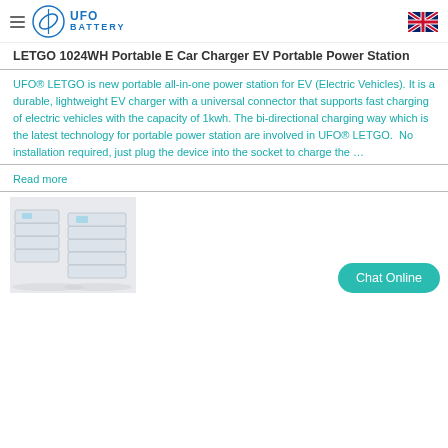UFO BATTERY
LETGO 1024WH Portable E Car Charger EV Portable Power Station
UFO® LETGO is new portable all-in-one power station for EV (Electric Vehicles). It is a durable, lightweight EV charger with a universal connector that supports fast charging of electric vehicles with the capacity of 1kwh. The bi-directional charging way which is the latest technology for portable power station are involved in UFO® LETGO.  No installation required, just plug the device into the socket to charge the …
Read more
[Figure (photo): Stacked white battery/energy storage units of varying sizes arranged on a light gray background]
Chat Online